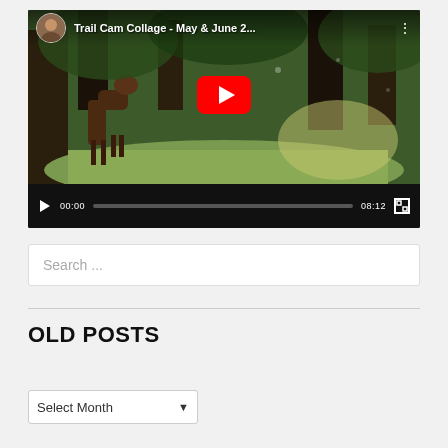[Figure (screenshot): Embedded YouTube video player showing 'Trail Cam Collage - May & June 2...' with a deer in a forest scene. Red YouTube play button in center. Video controls show 00:00 / 08:12 with progress bar.]
Search ...
OLD POSTS
Select Month